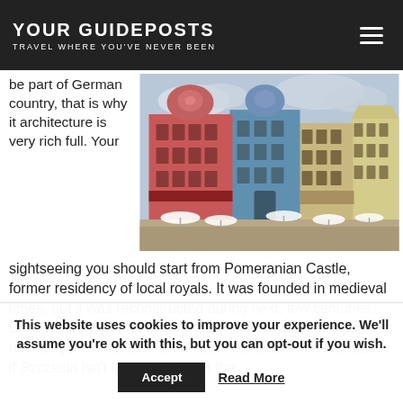YOUR GUIDEPOSTS — TRAVEL WHERE YOU'VE NEVER BEEN
be part of German country, that is why it architecture is very rich full. Your
[Figure (photo): Colorful baroque and renaissance-style buildings on a town square, with outdoor café seating and umbrellas — appears to be Szczecin, Poland.]
sightseeing you should start from Pomeranian Castle, former residency of local royals. It was founded in medieval times, but it was reconstructed during next, few centuries. Unfortunately, during the world war two it was destroyed, but nowadays it looks almost the same as before the war. Even if Szczecin isn't located close to the
This website uses cookies to improve your experience. We'll assume you're ok with this, but you can opt-out if you wish.